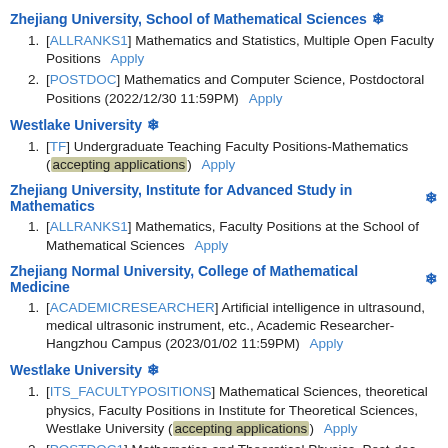Zhejiang University, School of Mathematical Sciences ❄
[ALLRANKS1] Mathematics and Statistics, Multiple Open Faculty Positions   Apply
[POSTDOC] Mathematics and Computer Science, Postdoctoral Positions (2022/12/30 11:59PM)   Apply
Westlake University ❄
[TF] Undergraduate Teaching Faculty Positions-Mathematics (accepting applications)   Apply
Zhejiang University, Institute for Advanced Study in Mathematics ❄
[ALLRANKS1] Mathematics, Faculty Positions at the School of Mathematical Sciences   Apply
Zhejiang Normal University, College of Mathematical Medicine ❄
[ACADEMICRESEARCHER] Artificial intelligence in ultrasound, medical ultrasonic instrument, etc., Academic Researcher-Hangzhou Campus (2023/01/02 11:59PM)   Apply
Westlake University ❄
[ITS_FACULTYPOSITIONS] Mathematical Sciences, theoretical physics, Faculty Positions in Institute for Theoretical Sciences, Westlake University (accepting applications)   Apply
[POSTDOC1] Mathematics and Theoretical Physics, Post-doc positions in Institute for Theoretical Sciences, Westlake University (accepting applications)   Apply